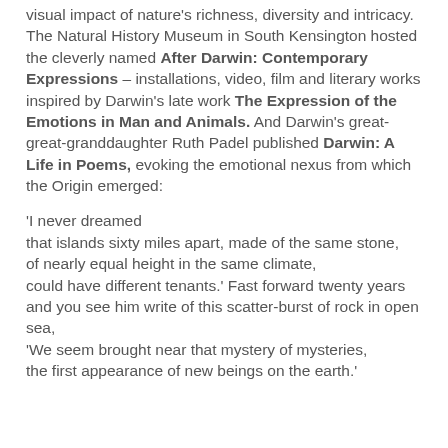visual impact of nature's richness, diversity and intricacy. The Natural History Museum in South Kensington hosted the cleverly named After Darwin: Contemporary Expressions – installations, video, film and literary works inspired by Darwin's late work The Expression of the Emotions in Man and Animals. And Darwin's great-great-granddaughter Ruth Padel published Darwin: A Life in Poems, evoking the emotional nexus from which the Origin emerged:
'I never dreamed
that islands sixty miles apart, made of the same stone,
of nearly equal height in the same climate,
could have different tenants.' Fast forward twenty years
and you see him write of this scatter-burst of rock in open sea,
'We seem brought near that mystery of mysteries,
the first appearance of new beings on the earth.'